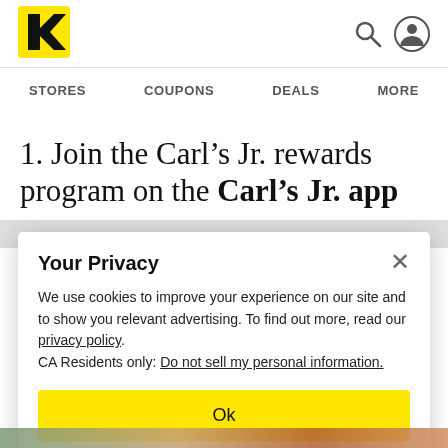[Figure (logo): Krazy Coupon Lady logo — yellow square with stylized K]
STORES   COUPONS   DEALS   MORE
1. Join the Carl’s Jr. rewards program on the Carl’s Jr. app
Your Privacy
We use cookies to improve your experience on our site and to show you relevant advertising. To find out more, read our privacy policy.
CA Residents only: Do not sell my personal information.
Ok